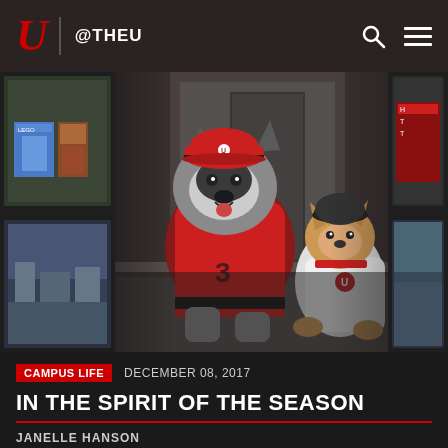@THEU
[Figure (photo): Two dogs dressed in University of Utah athletic gear — a large husky-type dog in a red jersey and baseball cap, and a smaller dog in a white jersey and cap — posed on what appears to be a couch or bench indoors.]
CAMPUS LIFE   DECEMBER 08, 2017
IN THE SPIRIT OF THE SEASON
JANELLE HANSON